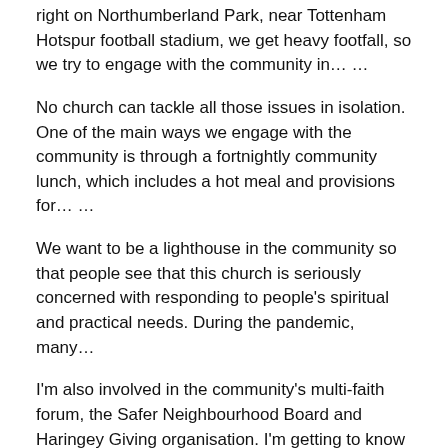…we're one of the oldest Pentecostal churches around. Being right on Northumberland Park, near Tottenham Hotspur football stadium, we get heavy footfall, so we try to engage with the community in… …
No church can tackle all those issues in isolation. One of the main ways we engage with the community is through a fortnightly community lunch, which includes a hot meal and provisions for… …
We want to be a lighthouse in the community so that people see that this church is seriously concerned with responding to people's spiritual and practical needs. During the pandemic, many…
I'm also involved in the community's multi-faith forum, the Safer Neighbourhood Board and Haringey Giving organisation. I'm getting to know people and I'm finding out what's affecting my…